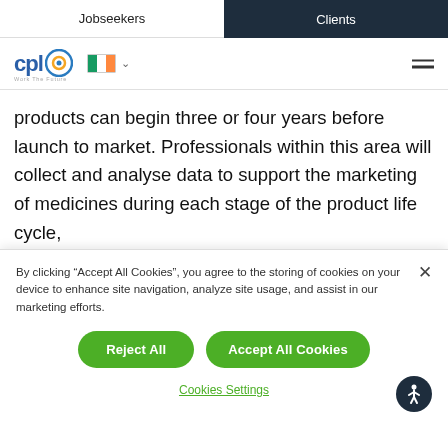Jobseekers | Clients
[Figure (logo): CPL logo with tagline 'Work The Future', Irish flag dropdown, and hamburger menu icon]
products can begin three or four years before launch to market. Professionals within this area will collect and analyse data to support the marketing of medicines during each stage of the product life cycle,
By clicking "Accept All Cookies", you agree to the storing of cookies on your device to enhance site navigation, analyze site usage, and assist in our marketing efforts.
Reject All
Accept All Cookies
Cookies Settings